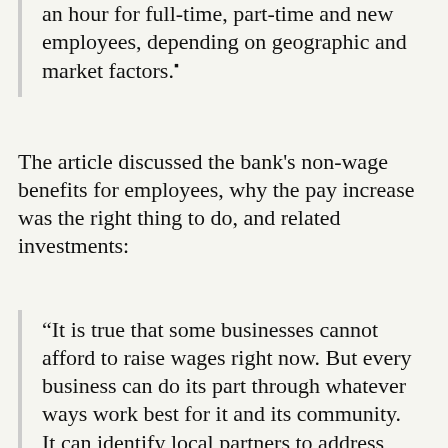an hour for full-time, part-time and new employees, depending on geographic and market factors.
The article discussed the bank's non-wage benefits for employees, why the pay increase was the right thing to do, and related investments:
"It is true that some businesses cannot afford to raise wages right now. But every business can do its part through whatever ways work best for it and its community. It can identify local partners to address economic inequality. It can encourage and provide continuous training, teach leadership capabilities and identify mentors to help sharpen employee skills. In our